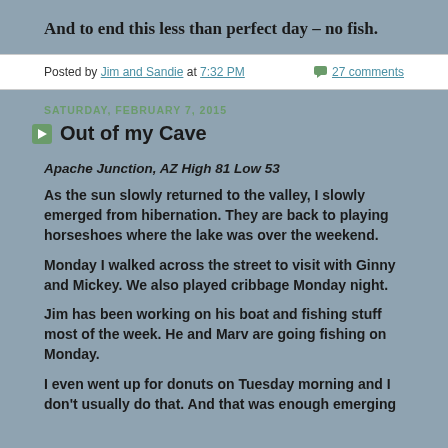And to end this less than perfect day – no fish.
Posted by Jim and Sandie at 7:32 PM   27 comments
SATURDAY, FEBRUARY 7, 2015
Out of my Cave
Apache Junction, AZ  High 81  Low 53
As the sun slowly returned to the valley, I slowly emerged from hibernation. They are back to playing horseshoes where the lake was over the weekend.
Monday I walked across the street to visit with Ginny and Mickey. We also played cribbage Monday night.
Jim has been working on his boat and fishing stuff most of the week. He and Marv are going fishing on Monday.
I even went up for donuts on Tuesday morning and I don't usually do that. And that was enough emerging